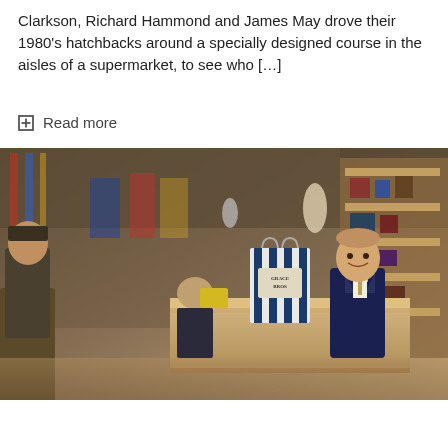Clarkson, Richard Hammond and James May drove their 1980's hatchbacks around a specially designed course in the aisles of a supermarket, to see who […]
+ Read more
[Figure (photo): Scene from a British period shop or department store setting. A man in a dark suit stands behind a counter with a Grace Bros branded bag. Another man in a suit stands nearby, and a bald man is seated in the background. Shelves with merchandise visible.]
The BBC Sitcom Season is upon us...and, at first glance, it is looking good!